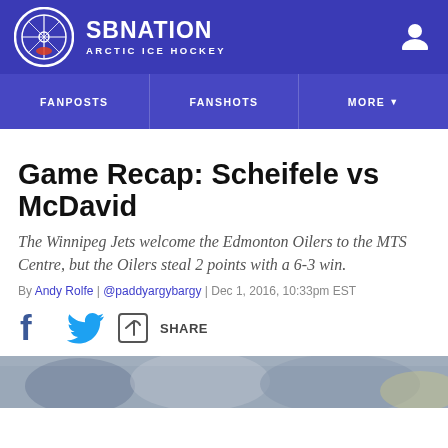SB NATION / ARCTIC ICE HOCKEY
Game Recap: Scheifele vs McDavid
The Winnipeg Jets welcome the Edmonton Oilers to the MTS Centre, but the Oilers steal 2 points with a 6-3 win.
By Andy Rolfe | @paddyargybargy | Dec 1, 2016, 10:33pm EST
[Figure (other): Social share icons: Facebook, Twitter, and a share button]
[Figure (photo): Bottom strip showing a partial photo of hockey players]